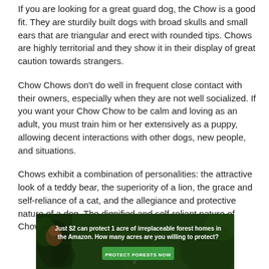If you are looking for a great guard dog, the Chow is a good fit. They are sturdily built dogs with broad skulls and small ears that are triangular and erect with rounded tips. Chows are highly territorial and they show it in their display of great caution towards strangers.
Chow Chows don't do well in frequent close contact with their owners, especially when they are not well socialized. If you want your Chow Chow to be calm and loving as an adult, you must train him or her extensively as a puppy, allowing decent interactions with other dogs, new people, and situations.
Chows exhibit a combination of personalities: the attractive look of a teddy bear, the superiority of a lion, the grace and self-reliance of a cat, and the allegiance and protective nature of a dog. The dignified and self-reliant nature of Chow Chows
[Figure (infographic): Advertisement banner with dark green forest background. Text reads: 'Just $2 can protect 1 acre of irreplaceable forest homes in the Amazon. How many acres are you willing to protect?' with a green 'PROTECT FORESTS NOW' button.]
x